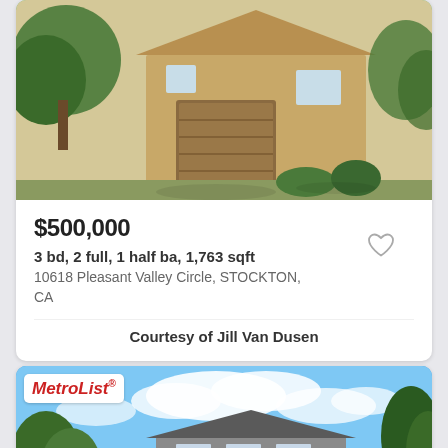[Figure (photo): Exterior photo of a tan/beige two-story house with a brown garage door, driveway, trees, and landscaping]
$500,000
3 bd, 2 full, 1 half ba, 1,763 sqft
10618 Pleasant Valley Circle, STOCKTON, CA
Courtesy of Jill Van Dusen
[Figure (photo): Exterior photo of a two-story suburban house with blue sky, white clouds, trees, and green lawn. MetroList badge in top-left corner.]